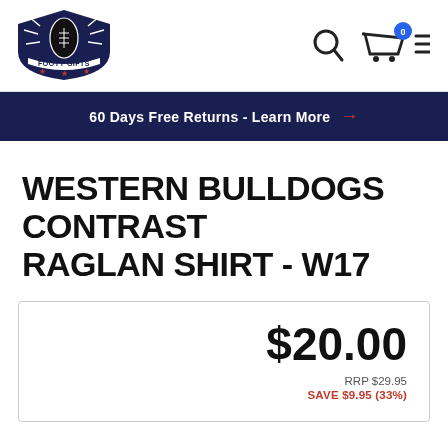[Figure (logo): Footy Gifts logo — blue shield with football and stars, 'FOOTY GIFTS' text]
[Figure (infographic): Navigation icons: search magnifier, shopping cart with 0 badge, hamburger menu]
60 Days Free Returns - Learn More →
WESTERN BULLDOGS CONTRAST RAGLAN SHIRT - W17
$20.00
RRP $29.95
SAVE $9.95 (33%)